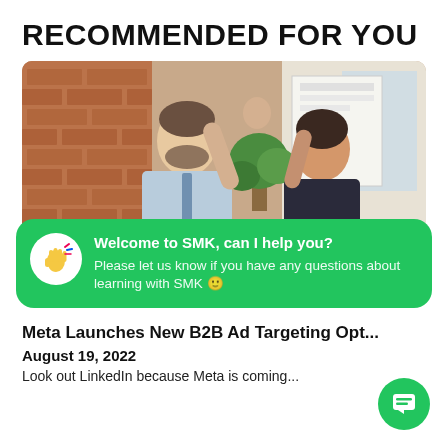RECOMMENDED FOR YOU
[Figure (photo): Two business professionals giving each other a high five in an office with brick wall background]
Welcome to SMK, can I help you?
Please let us know if you have any questions about learning with SMK 🙂
Meta Launches New B2B Ad Targeting Opt...
August 19, 2022
Look out LinkedIn because Meta is coming...